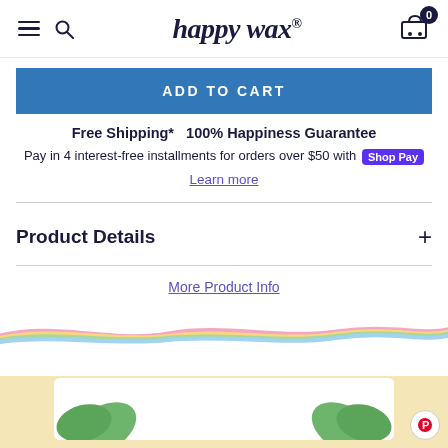happy wax
ADD TO CART
Free Shipping*   100% Happiness Guarantee
Pay in 4 interest-free installments for orders over $50 with Shop Pay
Learn more
Product Details
More Product Info
[Figure (illustration): Decorative rainbow wave ribbon divider in pastel colors (pink, yellow, green, blue) across the page width]
[Figure (photo): Bottom section with pale yellow background showing green plant/product images on a white card]